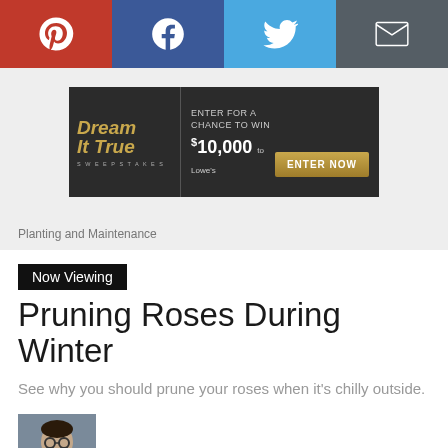[Figure (other): Social sharing bar with Pinterest (red), Facebook (dark blue), Twitter (light blue), and Email (dark gray) buttons]
[Figure (other): Dream It True Sweepstakes advertisement banner: Enter for a chance to win $10,000 to Lowe's, with Enter Now button]
Planting and Maintenance
Now Viewing
Pruning Roses During Winter
See why you should prune your roses when it's chilly outside.
By: Lynn Coulter